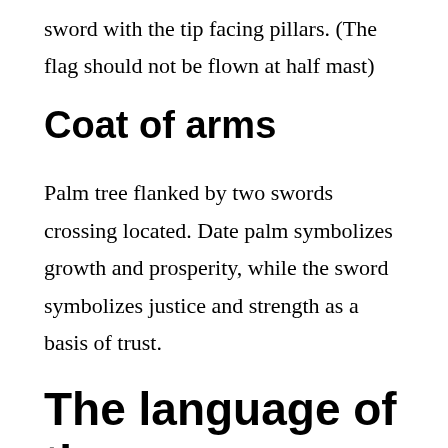sword with the tip facing pillars. (The flag should not be flown at half mast)
Coat of arms
Palm tree flanked by two swords crossing located. Date palm symbolizes growth and prosperity, while the sword symbolizes justice and strength as a basis of trust.
The language of the